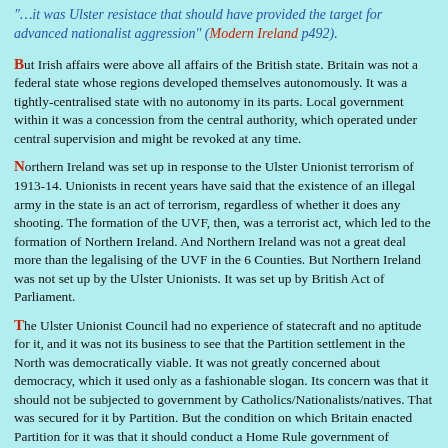"…it was Ulster resistace that should have provided the target for advanced nationalist aggression" (Modern Ireland p492).
But Irish affairs were above all affairs of the British state. Britain was not a federal state whose regions developed themselves autonomously. It was a tightly-centralised state with no autonomy in its parts. Local government within it was a concession from the central authority, which operated under central supervision and might be revoked at any time.
Northern Ireland was set up in response to the Ulster Unionist terrorism of 1913-14. Unionists in recent years have said that the existence of an illegal army in the state is an act of terrorism, regardless of whether it does any shooting. The formation of the UVF, then, was a terrorist act, which led to the formation of Northern Ireland. And Northern Ireland was not a great deal more than the legalising of the UVF in the 6 Counties. But Northern Ireland was not set up by the Ulster Unionists. It was set up by British Act of Parliament.
The Ulster Unionist Council had no experience of statecraft and no aptitude for it, and it was not its business to see that the Partition settlement in the North was democratically viable. It was not greatly concerned about democracy, which it used only as a fashionable slogan. Its concern was that it should not be subjected to government by Catholics/Nationalists/natives. That was secured for it by Partition. But the condition on which Britain enacted Partition for it was that it should conduct a Home Rule government of Northern Ireland outside the political system of the state.